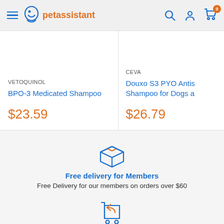petassistant
VETOQUINOL
BPO-3 Medicated Shampoo
$23.59
CEVA
Douxo S3 PYO Antis… Shampoo for Dogs a
$26.79
[Figure (illustration): Box/package delivery icon in blue outline style]
Free delivery for Members
Free Delivery for our members on orders over $60
[Figure (illustration): Shopping cart with return arrow icon in blue outline style]